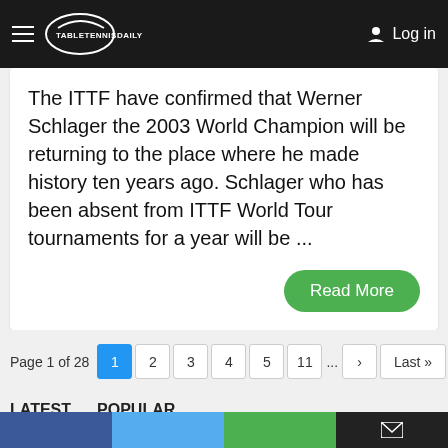TableTennisDaily — Log in
The ITTF have confirmed that Werner Schlager the 2003 World Champion will be returning to the place where he made history ten years ago. Schlager who has been absent from ITTF World Tour tournaments for a year will be ...
Read More
Page 1 of 28  1  2  3  4  5  11  ...  >  Last »
LATEST   POPULAR
5 Reasons Why Eleven Table Tennis Will Blow Your Mind
Social share bar